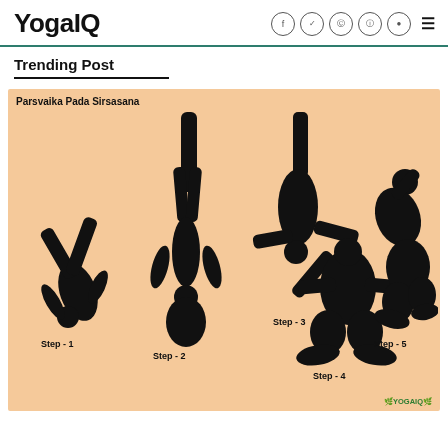YogaIQ
Trending Post
[Figure (illustration): Parsvaika Pada Sirsasana yoga pose shown in 5 steps as black silhouettes on peach/orange background. Step 1: inverted pose with legs split sideways. Step 2: full headstand with legs together pointing up. Step 3: headstand with legs extended forward. Step 4: kneeling forward bend. Step 5: seated twist/backbend. YogaIQ watermark at bottom right.]